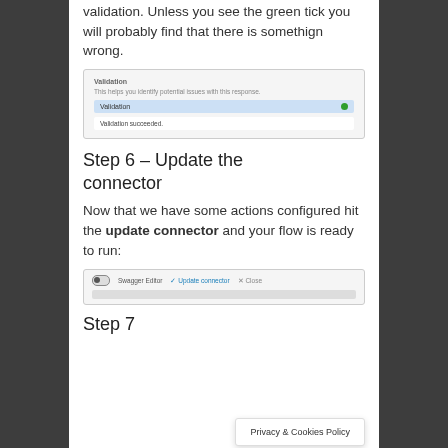validation. Unless you see the green tick you will probably find that there is somethign wrong.
[Figure (screenshot): Screenshot of a Validation panel showing 'Validation' label with a green dot and 'Validation succeeded.' text below]
Step 6 – Update the connector
Now that we have some actions configured hit the update connector and your flow is ready to run:
[Figure (screenshot): Screenshot of a toolbar showing Swagger Editor toggle, Update connector button with checkmark, and Close button with X]
Step 7
Privacy & Cookies Policy